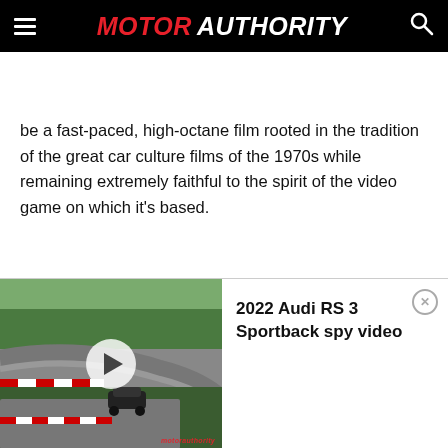MOTOR AUTHORITY
be a fast-paced, high-octane film rooted in the tradition of the great car culture films of the 1970s while remaining extremely faithful to the spirit of the video game on which it’s based.
[Figure (screenshot): Video widget showing a car on a racing track (Nürburgring), with a play button overlay, title '2022 Audi RS 3 Sportback spy video', and a close button.]